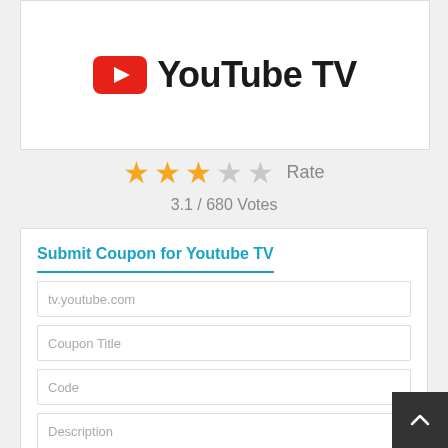[Figure (logo): YouTube TV logo with red play button icon and black text 'YouTube TV']
★★★☆☆ Rate
3.1 / 680 Votes
Submit Coupon for Youtube TV
tv.youtube.com
Coupon Title
Code
Description
Expiration
Submit